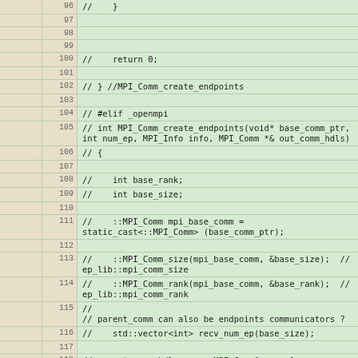Code listing lines 96-121, commented-out C++ MPI code
|  | line | code |
| --- | --- | --- |
|  | 96 | //    } |
|  | 97 |  |
|  | 98 |  |
|  | 99 |  |
|  | 100 | //    return 0; |
|  | 101 |  |
|  | 102 | // } //MPI_Comm_create_endpoints |
|  | 103 |  |
|  | 104 | // #elif _openmpi |
|  | 105 | // int MPI_Comm_create_endpoints(void* base_comm_ptr, int num_ep, MPI_Info info, MPI_Comm *& out_comm_hdls) |
|  | 106 | // { |
|  | 107 |  |
|  | 108 | //    int base_rank; |
|  | 109 | //    int base_size; |
|  | 110 |  |
|  | 111 | //    ::MPI_Comm mpi_base_comm = static_cast<::MPI_Comm> (base_comm_ptr); |
|  | 112 |  |
|  | 113 | //    ::MPI_Comm_size(mpi_base_comm, &base_size);  // ep_lib::mpi_comm_size |
|  | 114 | //    ::MPI_Comm_rank(mpi_base_comm, &base_rank);  // ep_lib::mpi_comm_rank |
|  | 115 | //
// parent_comm can also be endpoints communicators ? |
|  | 116 | //    std::vector<int> recv_num_ep(base_size); |
|  | 117 |  |
|  | 118 | //    out_comm_hdls = new MPI_Comm[num_ep]; |
|  | 119 |  |
|  | 120 | //    for (int idx = 0; idx < num_ep; ++idx) |
|  | 121 | //    { |